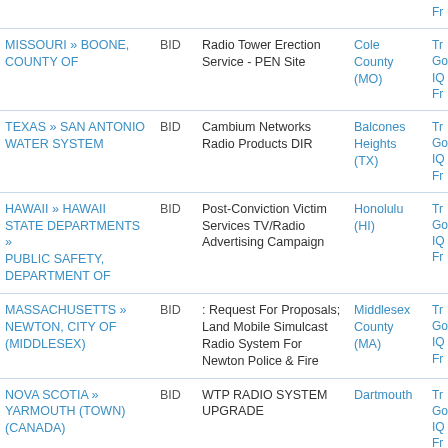| Organization | Type | Description | Location | Details |
| --- | --- | --- | --- | --- |
| MISSOURI » BOONE, COUNTY OF | BID | Radio Tower Erection Service - PEN Site | Cole County (MO) | Tr Go IQ Fr |
| TEXAS » SAN ANTONIO WATER SYSTEM | BID | Cambium Networks Radio Products DIR | Balcones Heights (TX) | Tr Go IQ Fr |
| HAWAII » HAWAII STATE DEPARTMENTS » PUBLIC SAFETY, DEPARTMENT OF | BID | Post-Conviction Victim Services TV/Radio Advertising Campaign | Honolulu (HI) | Tr Go IQ Fr |
| MASSACHUSETTS » NEWTON, CITY OF (MIDDLESEX) | BID | : Request For Proposals; Land Mobile Simulcast Radio System For Newton Police & Fire | Middlesex County (MA) | Tr Go IQ Fr |
| NOVA SCOTIA » YARMOUTH (TOWN) (CANADA) | BID | WTP RADIO SYSTEM UPGRADE | Dartmouth | Tr Go IQ Fr |
| CALIFORNIA » CALIFORNIA STATE | BID | 22-10024-000 Commercial Radio | Atascadero (CA) | Tr Go |